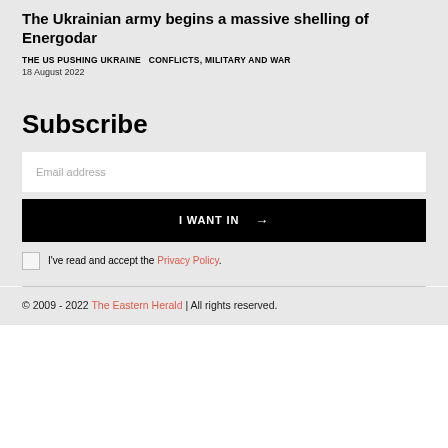The Ukrainian army begins a massive shelling of Energodar
THE US PUSHING UKRAINE  CONFLICTS, MILITARY AND WAR
18 August 2022
Subscribe
Email address
I WANT IN →
I've read and accept the Privacy Policy.
© 2009 - 2022 The Eastern Herald | All rights reserved.